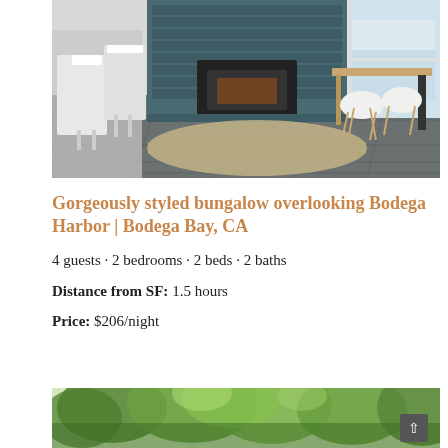[Figure (photo): Interior photo of a modern bungalow living/dining area with dark slate tile floors, teal/dark blue brick fireplace, a natural fiber rug, and a wooden dining table with white Eames-style chairs near a large window overlooking water.]
Gorgeously styled bungalow overlooking Bodega Harbor | Bodega Bay, CA
4 guests · 2 bedrooms · 2 beds · 2 baths
Distance from SF: 1.5 hours
Price: $206/night
[Figure (photo): Outdoor photo showing lush green trees and foliage, partial view of a property exterior.]